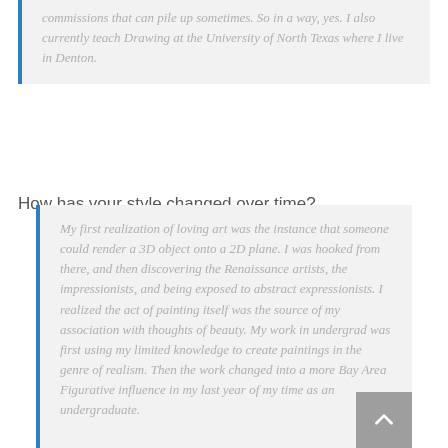commissions that can pile up sometimes. So in a way, yes. I also currently teach Drawing at the University of North Texas where I live in Denton.
How has your style changed over time?
My first realization of loving art was the instance that someone could render a 3D object onto a 2D plane. I was hooked from there, and then discovering the Renaissance artists, the impressionists, and being exposed to abstract expressionists. I realized the act of painting itself was the source of my association with thoughts of beauty. My work in undergrad was first using my limited knowledge to create paintings in the genre of realism. Then the work changed into a more Bay Area Figurative influence in my last year of my time as an undergraduate.